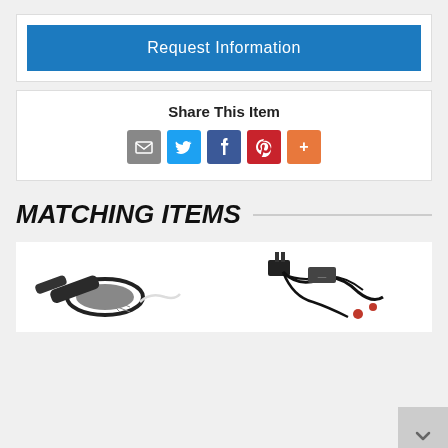Request Information
Share This Item
[Figure (infographic): Social sharing icons: email (gray), Twitter (blue), Facebook (blue), Pinterest (red), More (orange)]
MATCHING ITEMS
[Figure (photo): Product photo: heating pad or sensor strap with circular mesh element]
[Figure (photo): Product photo: electrical cables and connectors with red components]
[Figure (photo): Scroll navigation button with chevron/arrow icon]